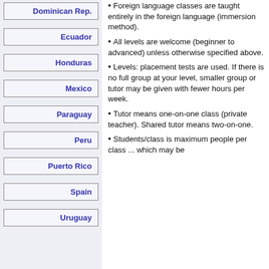Dominican Rep.
Ecuador
Honduras
Mexico
Paraguay
Peru
Puerto Rico
Spain
Uruguay
Foreign language classes are taught entirely in the foreign language (immersion method).
All levels are welcome (beginner to advanced) unless otherwise specified above.
Levels: placement tests are used. If there is no full group at your level, smaller group or tutor may be given with fewer hours per week.
Tutor means one-on-one class (private teacher). Shared tutor means two-on-one.
Students/class is maximum people per class ... which may be